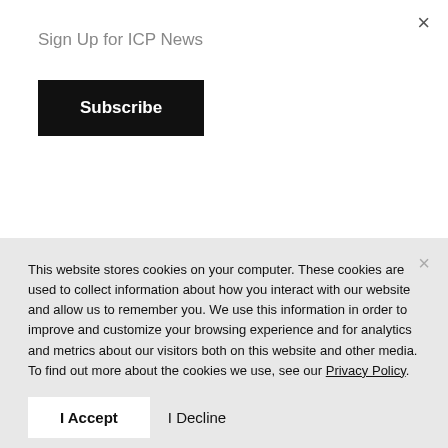×
Sign Up for ICP News
Subscribe
Admission to ICP is by timed ticketed entry only to ensure limited capacity and other safety standards are met. Tickets can be reserved online at icp.org/tickets. Visitors are asked to arrive during the 30-minute window of your timed ticket to help us ensure a safe flow in the lobby. For more information about how
This website stores cookies on your computer. These cookies are used to collect information about how you interact with our website and allow us to remember you. We use this information in order to improve and customize your browsing experience and for analytics and metrics about our visitors both on this website and other media. To find out more about the cookies we use, see our Privacy Policy.
I Accept
I Decline